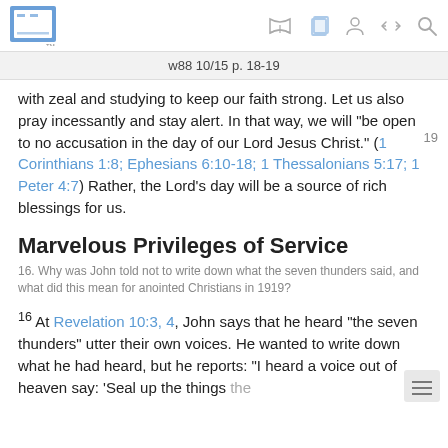w88 10/15 p. 18-19
with zeal and studying to keep our faith strong. Let us also pray incessantly and stay alert. In that way, we will “be open to no accusation in the day of our Lord Jesus Christ.” (1 Corinthians 1:8; Ephesians 6:10-18; 1 Thessalonians 5:17; 1 Peter 4:7) Rather, the Lord’s day will be a source of rich blessings for us.
Marvelous Privileges of Service
16. Why was John told not to write down what the seven thunders said, and what did this mean for anointed Christians in 1919?
16 At Revelation 10:3, 4, John says that he heard “the seven thunders” utter their own voices. He wanted to write down what he had heard, but he reports: “I heard a voice out of heaven say: ‘Seal up the things the